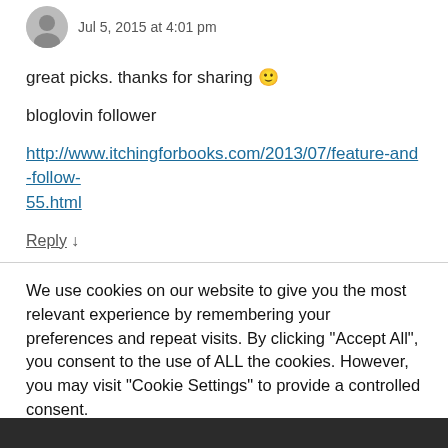Jul 5, 2015 at 4:01 pm
great picks. thanks for sharing 🙂
bloglovin follower
http://www.itchingforbooks.com/2013/07/feature-and-follow-55.html
Reply ↓
We use cookies on our website to give you the most relevant experience by remembering your preferences and repeat visits. By clicking "Accept All", you consent to the use of ALL the cookies. However, you may visit "Cookie Settings" to provide a controlled consent.